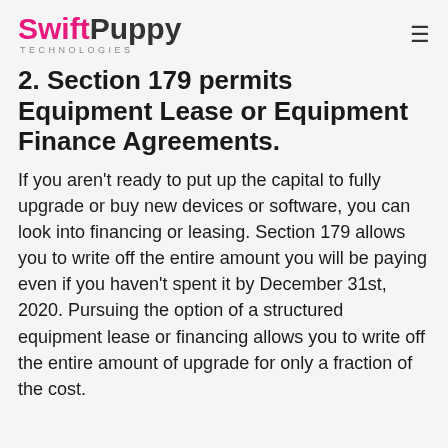SwiftPuppy TECHNOLOGIES
2. Section 179 permits Equipment Lease or Equipment Finance Agreements.
If you aren't ready to put up the capital to fully upgrade or buy new devices or software, you can look into financing or leasing. Section 179 allows you to write off the entire amount you will be paying even if you haven't spent it by December 31st, 2020. Pursuing the option of a structured equipment lease or financing allows you to write off the entire amount of upgrade for only a fraction of the cost.